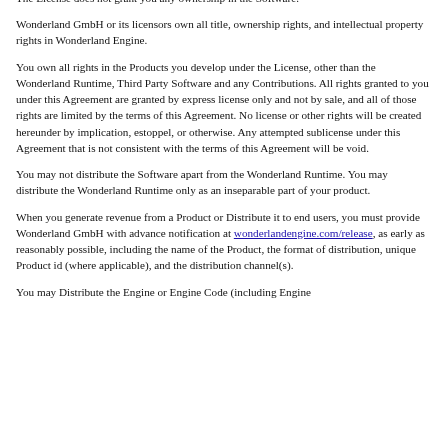The License does not grant you any ownership in the Software.
Wonderland GmbH or its licensors own all title, ownership rights, and intellectual property rights in Wonderland Engine.
You own all rights in the Products you develop under the License, other than the Wonderland Runtime, Third Party Software and any Contributions. All rights granted to you under this Agreement are granted by express license only and not by sale, and all of those rights are limited by the terms of this Agreement. No license or other rights will be created hereunder by implication, estoppel, or otherwise. Any attempted sublicense under this Agreement that is not consistent with the terms of this Agreement will be void.
You may not distribute the Software apart from the Wonderland Runtime. You may distribute the Wonderland Runtime only as an inseparable part of your product.
When you generate revenue from a Product or Distribute it to end users, you must provide Wonderland GmbH with advance notification at wonderlandengine.com/release, as early as reasonably possible, including the name of the Product, the format of distribution, unique Product id (where applicable), and the distribution channel(s).
You may Distribute the Engine or Engine Code (including Engine